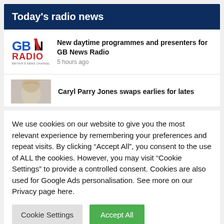Today's radio news
[Figure (logo): GB News Radio logo with blue GB, red N, and RADIO text below]
New daytime programmes and presenters for GB News Radio
5 hours ago
[Figure (photo): Partial photo of a person with light hair on grey background]
Caryl Parry Jones swaps earlies for lates
We use cookies on our website to give you the most relevant experience by remembering your preferences and repeat visits. By clicking “Accept All”, you consent to the use of ALL the cookies. However, you may visit “Cookie Settings” to provide a controlled consent. Cookies are also used for Google Ads personalisation. See more on our Privacy page here.
Cookie Settings
Accept All